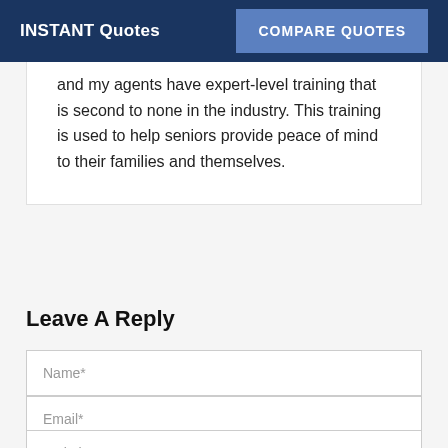INSTANT Quotes | COMPARE QUOTES
and my agents have expert-level training that is second to none in the industry. This training is used to help seniors provide peace of mind to their families and themselves.
Leave A Reply
Name*
Email*
Website